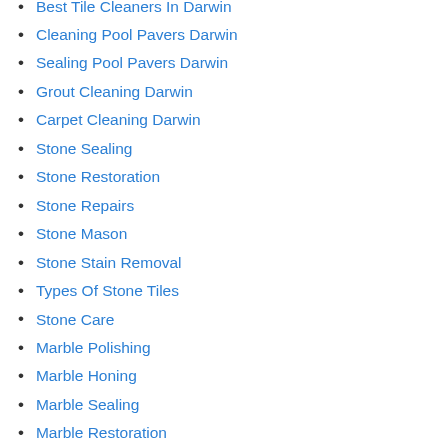Best Tile Cleaners In Darwin
Cleaning Pool Pavers Darwin
Sealing Pool Pavers Darwin
Grout Cleaning Darwin
Carpet Cleaning Darwin
Stone Sealing
Stone Restoration
Stone Repairs
Stone Mason
Stone Stain Removal
Types Of Stone Tiles
Stone Care
Marble Polishing
Marble Honing
Marble Sealing
Marble Restoration
Marble Repairs
Marble Sealer
How To Make Stone Floors Shiny
Cleaning Polished Travertine Tiles
Sealing Polished Travertine Tiles